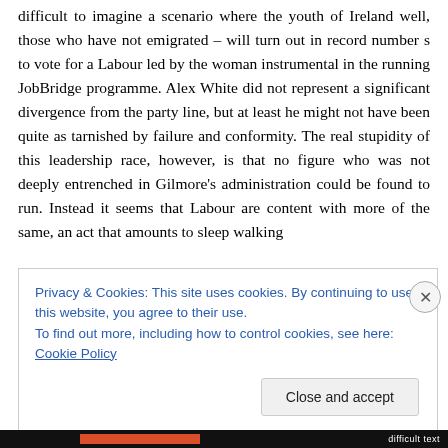difficult to imagine a scenario where the youth of Ireland well, those who have not emigrated – will turn out in record number s to vote for a Labour led by the woman instrumental in the running JobBridge programme. Alex White did not represent a significant divergence from the party line, but at least he might not have been quite as tarnished by failure and conformity. The real stupidity of this leadership race, however, is that no figure who was not deeply entrenched in Gilmore's administration could be found to run. Instead it seems that Labour are content with more of the same, an act that amounts to sleep walking
Privacy & Cookies: This site uses cookies. By continuing to use this website, you agree to their use.
To find out more, including how to control cookies, see here: Cookie Policy